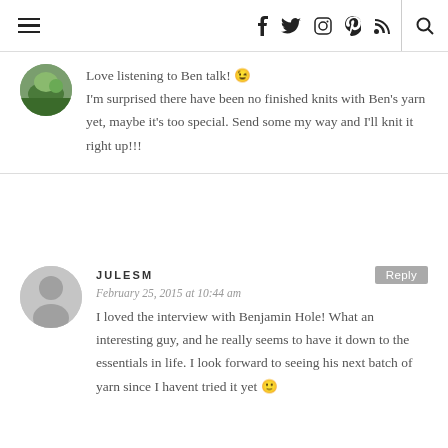Navigation bar with hamburger menu, social icons (Facebook, Twitter, Instagram, Pinterest, RSS), and search icon
Love listening to Ben talk! 😉 I'm surprised there have been no finished knits with Ben's yarn yet, maybe it's too special. Send some my way and I'll knit it right up!!!
JULESM
February 25, 2015 at 10:44 am
I loved the interview with Benjamin Hole! What an interesting guy, and he really seems to have it down to the essentials in life. I look forward to seeing his next batch of yarn since I havent tried it yet 🙂